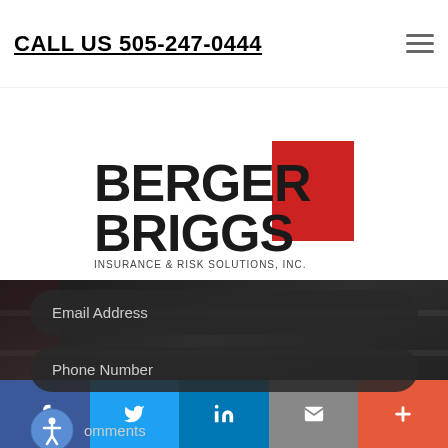CALL US 505-247-0444
[Figure (logo): Berger Briggs Insurance & Risk Solutions, Inc. logo — bold dark text 'BERGER BRIGGS' with a red square graphic, established 1937]
Español
Email Address
Phone Number
omments
f  Twitter  in  Email  +